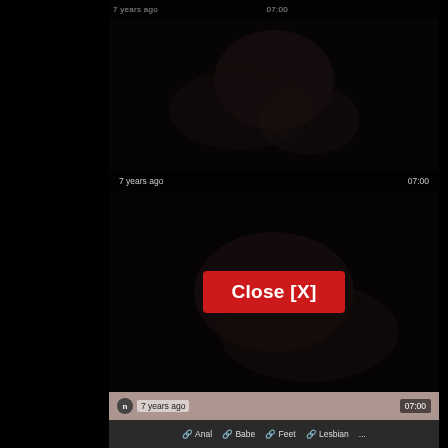7 years ago   07:00
[Figure (screenshot): Dark video thumbnail showing dimly lit bedroom scene]
7 years ago   07:00
[Figure (screenshot): Dark video content area with close button overlay]
Close [X]
[Figure (screenshot): Video thumbnail showing partial scene with 7 years ago timestamp and 07:00 duration]
7 years ago   07:00
🔗 Anal   🔗 Babe   🔗 Feet   🔗 Lesbian   ...